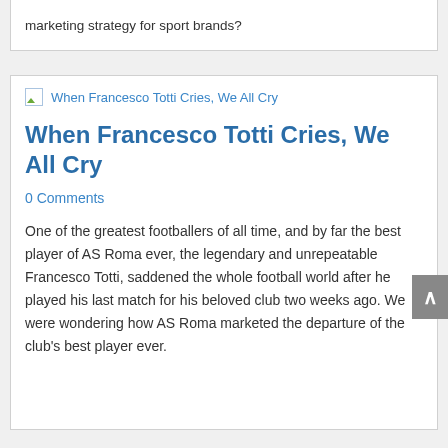marketing strategy for sport brands?
[Figure (illustration): Broken image placeholder with alt text: When Francesco Totti Cries, We All Cry]
When Francesco Totti Cries, We All Cry
0 Comments
One of the greatest footballers of all time, and by far the best player of AS Roma ever, the legendary and unrepeatable Francesco Totti, saddened the whole football world after he played his last match for his beloved club two weeks ago. We were wondering how AS Roma marketed the departure of the club's best player ever.